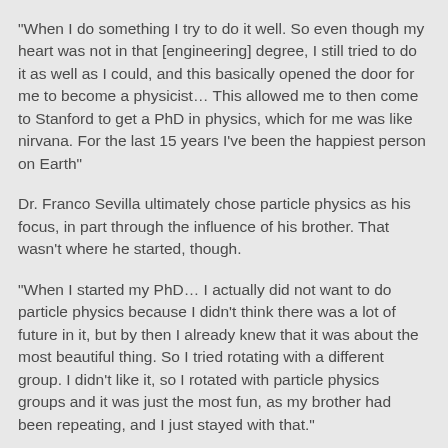“When I do something I try to do it well. So even though my heart was not in that [engineering] degree, I still tried to do it as well as I could, and this basically opened the door for me to become a physicist… This allowed me to then come to Stanford to get a PhD in physics, which for me was like nirvana. For the last 15 years I’ve been the happiest person on Earth”
Dr. Franco Sevilla ultimately chose particle physics as his focus, in part through the influence of his brother. That wasn’t where he started, though.
“When I started my PhD… I actually did not want to do particle physics because I didn’t think there was a lot of future in it, but by then I already knew that it was about the most beautiful thing. So I tried rotating with a different group. I didn’t like it, so I rotated with particle physics groups and it was just the most fun, as my brother had been repeating, and I just stayed with that.”
Seeking to understand the most fundamental parts of